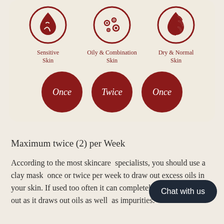[Figure (infographic): Skin type usage frequency infographic: Three skin types shown with icons (Sensitive Skin, Oily & Combination Skin, Dry & Normal Skin) each with a recommended frequency circle below (Once, Twice, Once)]
Maximum twice (2) per Week
According to the most skincare  specialists, you should use a clay mask  once or twice per week to draw out excess oils in your skin. If used too often it can completely dry  your skin out as it draws out oils as well  as impurities.